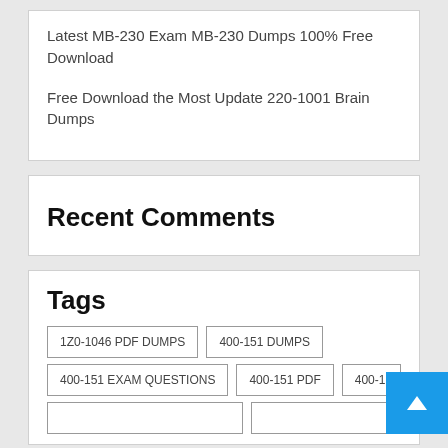Latest MB-230 Exam MB-230 Dumps 100% Free Download
Free Download the Most Update 220-1001 Brain Dumps
Recent Comments
Tags
1Z0-1046 PDF DUMPS
400-151 DUMPS
400-151 EXAM QUESTIONS
400-151 PDF
400-151 V...